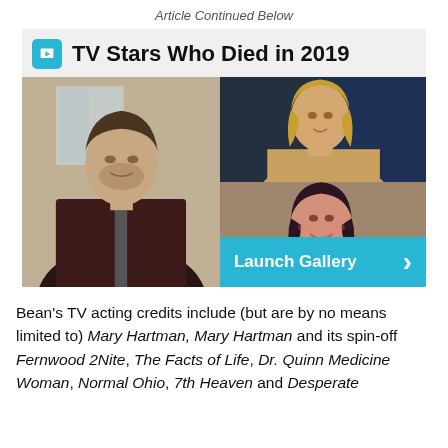Article Continued Below
TV Stars Who Died in 2019
[Figure (photo): Gallery card showing TV Stars Who Died in 2019 with photos of actors including Luke Perry and others, with a Launch Gallery button]
Bean's TV acting credits include (but are by no means limited to) Mary Hartman, Mary Hartman and its spin-off Fernwood 2Nite, The Facts of Life, Dr. Quinn Medicine Woman, Normal Ohio, 7th Heaven and Desperate